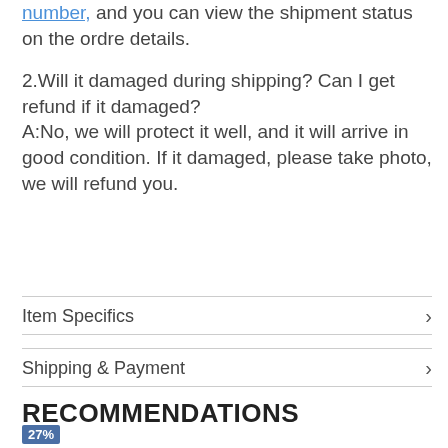number, and you can view the shipment status on the ordre details.
2.Will it damaged during shipping? Can I get refund if it damaged?
A:No, we will protect it well, and it will arrive in good condition. If it damaged, please take photo, we will refund you.
Item Specifics
Shipping & Payment
RECOMMENDATIONS